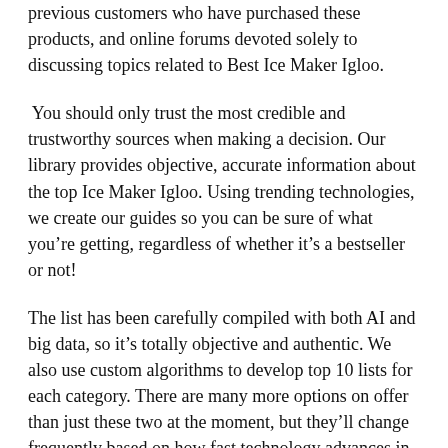previous customers who have purchased these products, and online forums devoted solely to discussing topics related to Best Ice Maker Igloo.
You should only trust the most credible and trustworthy sources when making a decision. Our library provides objective, accurate information about the top Ice Maker Igloo. Using trending technologies, we create our guides so you can be sure of what you're getting, regardless of whether it's a bestseller or not!
The list has been carefully compiled with both AI and big data, so it's totally objective and authentic. We also use custom algorithms to develop top 10 lists for each category. There are many more options on offer than just these two at the moment, but they'll change frequently based on how fast technology advances in proofreading collected information.